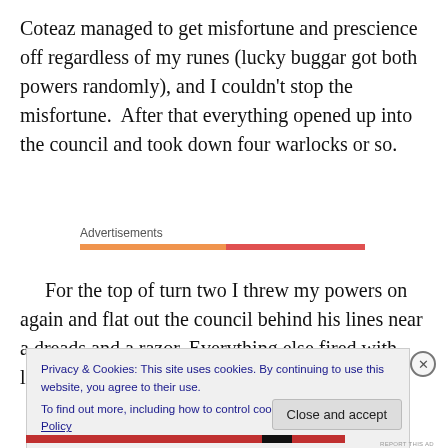Coteaz managed to get misfortune and prescience off regardless of my runes (lucky buggar got both powers randomly), and I couldn't stop the misfortune.  After that everything opened up into the council and took down four warlocks or so.
Advertisements
For the top of turn two I threw my powers on again and flat out the council behind his lines near a dreads and a razor. Everything else fired with little result at the palis.  For his turn
Privacy & Cookies: This site uses cookies. By continuing to use this website, you agree to their use.
To find out more, including how to control cookies, see here: Cookie Policy
Close and accept